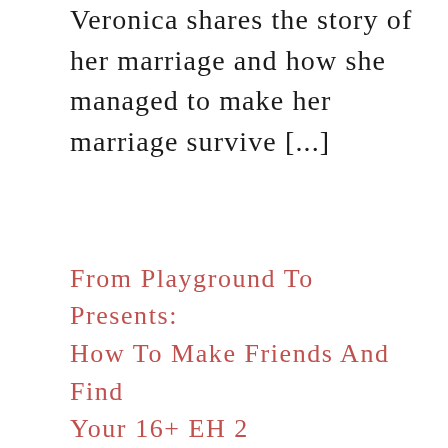Veronica shares the story of her marriage and how she managed to make her marriage survive [...]
From Playground To Presents: How To Make Friends And Find Your 16+ EH 2